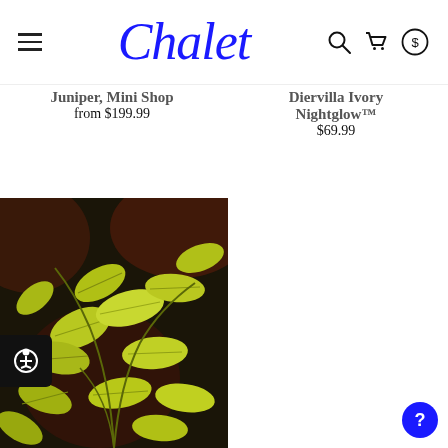Chalet — navigation header with logo, search, cart, and currency icons
Juniper, Mini Shop — from $199.99
Diervillea Ivory Nightglow™ — $69.99
[Figure (photo): Close-up photo of golden-yellow plant leaves (likely Diervilla or similar shrub) on dark background, filling the lower-left quadrant of the page]